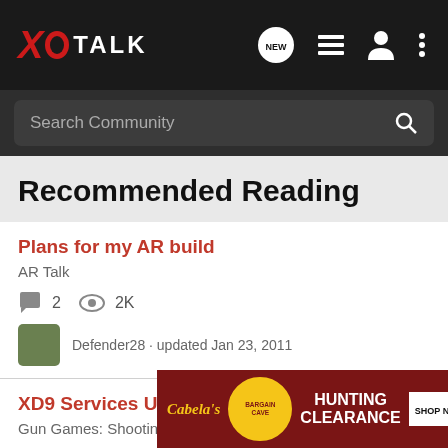XDTALK
Search Community
Recommended Reading
Plans for my AR build
AR Talk
2  2K
Defender28 · updated Jan 23, 2011
XD9 Services Upgrades
Gun Games: Shooting Competition
11
mh
[Figure (screenshot): Cabela's Bargain Cave Hunting Clearance ad banner with Shop Now button]